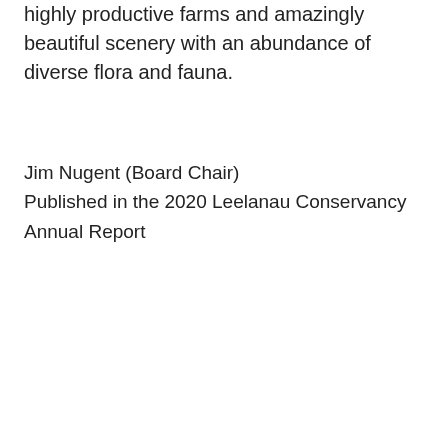highly productive farms and amazingly beautiful scenery with an abundance of diverse flora and fauna.
Jim Nugent (Board Chair)
Published in the 2020 Leelanau Conservancy Annual Report
[Figure (infographic): Teal box with bold white text asking 'What’s the difference between a Natural Area (NA) and a Conservation Easement (CE)?' followed by a beige comparison table with columns NA and CE, and a row 'Open to the public' with a checkmark under NA.]